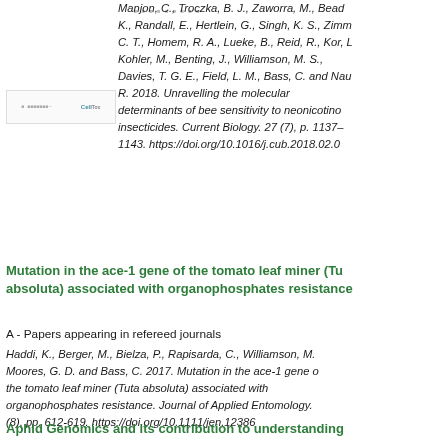[Figure (screenshot): Small thumbnail image of a journal article, appears to show a Cell journal article thumbnail with text]
Manjon, C., Troczka, B. J., Zaworra, M., Bead... K., Randall, E., Hertlein, G., Singh, K. S., Zimm... C. T., Homem, R. A., Lueke, B., Reid, R., Kor, L... Kohler, M., Benting, J., Williamson, M. S., Davies, T. G. E., Field, L. M., Bass, C. and Nau... R. 2018. Unravelling the molecular determinants of bee sensitivity to neonicotino... insecticides. Current Biology. 27 (7), p. 1137– 1143. https://doi.org/10.1016/j.cub.2018.02.0...
Mutation in the ace-1 gene of the tomato leaf miner (Tu... absoluta) associated with organophosphates resistance...
A - Papers appearing in refereed journals
Haddi, K., Berger, M., Bielza, P., Rapisarda, C., Williamson, M.... Moores, G. D. and Bass, C. 2017. Mutation in the ace-1 gene o... the tomato leaf miner (Tuta absoluta) associated with organophosphates resistance. Journal of Applied Entomology. ... (8), pp. 612-619. https://doi.org/10.1111/jen.12386
Aphid Genomics and its contribution to understanding...